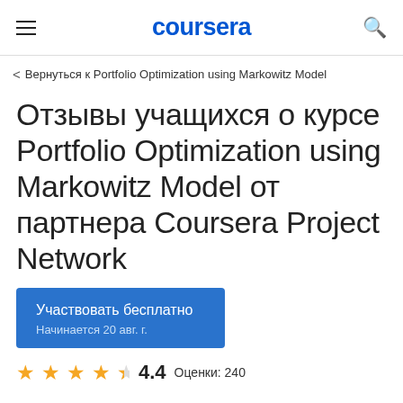coursera
< Вернуться к Portfolio Optimization using Markowitz Model
Отзывы учащихся о курсе Portfolio Optimization using Markowitz Model от партнера Coursera Project Network
Участвовать бесплатно
Начинается 20 авг. г.
4.4  Оценки: 240